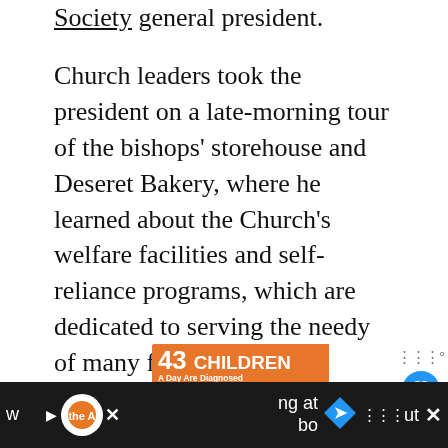Society general president.
Church leaders took the president on a late-morning tour of the bishops' storehouse and Deseret Bakery, where he learned about the Church's welfare facilities and self-reliance programs, which are dedicated to serving the needy of many faiths around the world.
[Figure (infographic): Advertisement banner: '43 CHILDREN A Day Are Diagnosed With Cancer in the U.S.' with Cookies for Kids' Cancer logo and 'Let's Get Baking' call to action]
“We’re here in a place where we have food and materials that we give to the poor,” explained President Eyring. “This is simply an example of